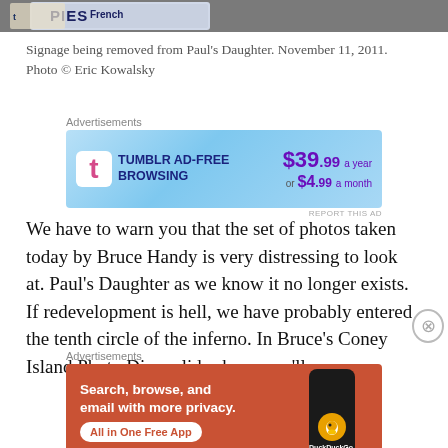[Figure (photo): Photo strip showing signage being removed, partial text visible including 'PIES' and 'French']
Signage being removed from Paul's Daughter. November 11, 2011. Photo © Eric Kowalsky
[Figure (screenshot): Tumblr AD-FREE BROWSING advertisement banner. $39.99 a year or $4.99 a month]
We have to warn you that the set of photos taken today by Bruce Handy is very distressing to look at. Paul's Daughter as we know it no longer exists. If redevelopment is hell, we have probably entered the tenth circle of the inferno. In Bruce's Coney Island Photo Diary slide show, you'll
[Figure (screenshot): DuckDuckGo advertisement: Search, browse, and email with more privacy. All in One Free App]